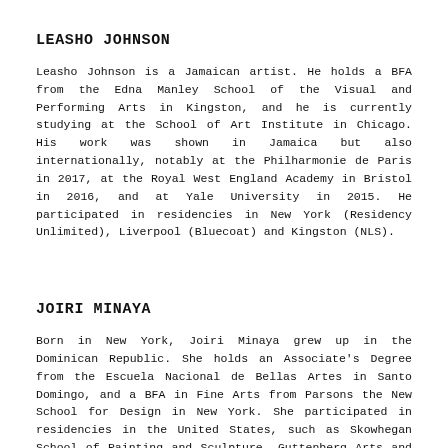LEASHO JOHNSON
Leasho Johnson is a Jamaican artist. He holds a BFA from the Edna Manley School of the Visual and Performing Arts in Kingston, and he is currently studying at the School of Art Institute in Chicago. His work was shown in Jamaica but also internationally, notably at the Philharmonie de Paris in 2017, at the Royal West England Academy in Bristol in 2016, and at Yale University in 2015. He participated in residencies in New York (Residency Unlimited), Liverpool (Bluecoat) and Kingston (NLS).
JOIRI MINAYA
Born in New York, Joiri Minaya grew up in the Dominican Republic. She holds an Associate's Degree from the Escuela Nacional de Bellas Artes in Santo Domingo, and a BFA in Fine Arts from Parsons the New School for Design in New York. She participated in residencies in the United States, such as Skowhegan School of Painting and Sculpture, Guttenberg Arts and BronxArtSpace. Her works have been presented in many individual and group shows across the Smithsonian in the United States, in 2015,